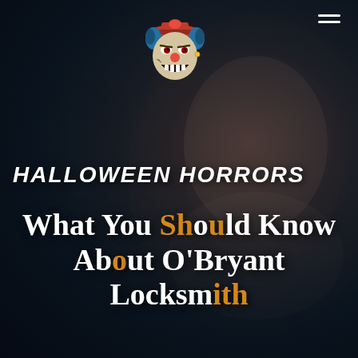[Figure (illustration): Dark Halloween-themed background with a screaming clown/woman face on the right side and a haunted building on the left, dark navy/teal tones]
[Figure (logo): Cartoon evil clown face with red hat, red nose, blue hair, sharp teeth, wearing an earring]
HALLOWEEN HORRORS
What You Should Know About O'Bryant Locksmith